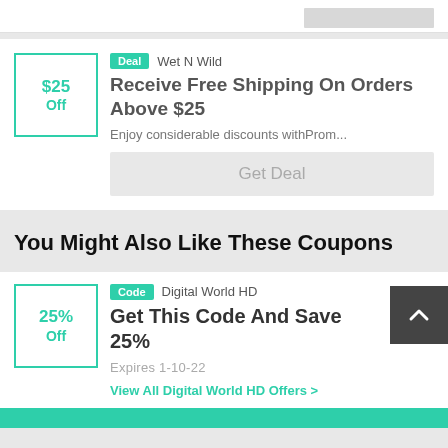[Figure (other): Top partial card showing a grey box button in top right]
[Figure (other): Coupon card for Wet N Wild: $25 Off, Deal badge, title 'Receive Free Shipping On Orders Above $25', description 'Enjoy considerable discounts withProm...', Get Deal button]
You Might Also Like These Coupons
[Figure (other): Coupon card for Digital World HD: 25% Off, Code badge, title 'Get This Code And Save 25%', Expires 1-10-22, View All Digital World HD Offers link, scroll-to-top button]